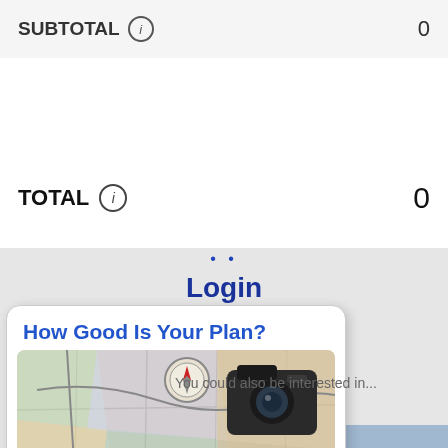SUBTOTAL (i)   0
TOTAL (i)   0
Login
How Good Is Your Plan?
You could also be interested in...
[Figure (photo): Travel flat lay photo showing maps, a camera, compass, magnifying glass, smartphone, and a hand pointing at a map]
[close]
[Figure (photo): Blue-toned photo of Venice domes/architecture with partial price text visible: £1...]